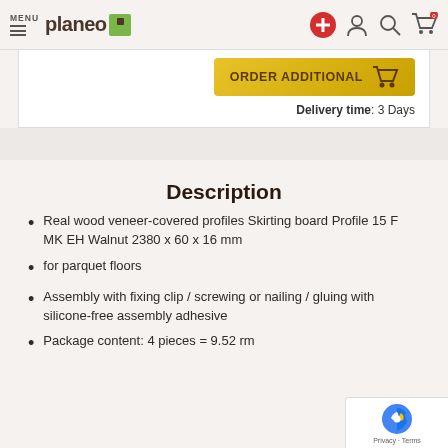MENU | planeo
ORDER ADDITIONAL | Delivery time: 3 Days
Description
Real wood veneer-covered profiles Skirting board Profile 15 F MK EH Walnut 2380 x 60 x 16 mm
for parquet floors
Assembly with fixing clip / screwing or nailing / gluing with silicone-free assembly adhesive
Package content: 4 pieces = 9.52 rm